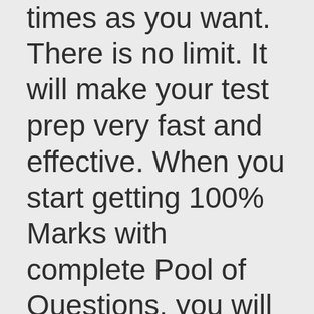times as you want. There is no limit. It will make your test prep very fast and effective. When you start getting 100% Marks with complete Pool of Questions, you will be ready to take genuine Test. Go register for Test in Test Center and